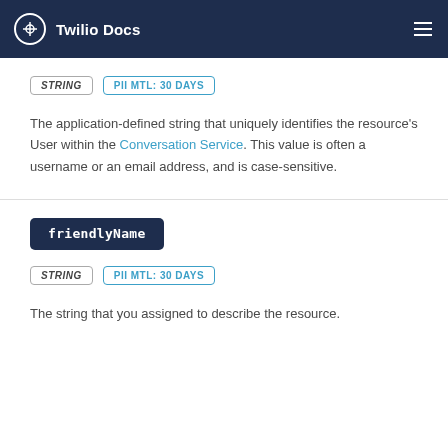Twilio Docs
STRING   PII MTL: 30 DAYS
The application-defined string that uniquely identifies the resource's User within the Conversation Service. This value is often a username or an email address, and is case-sensitive.
friendlyName
STRING   PII MTL: 30 DAYS
The string that you assigned to describe the resource.